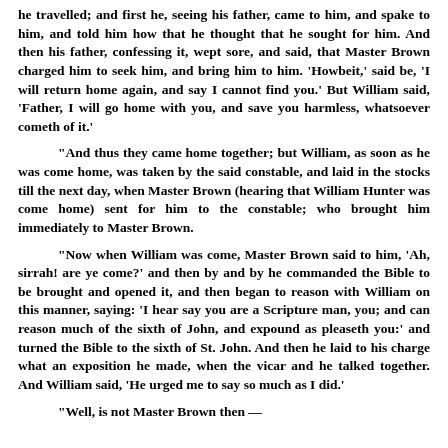he travelled; and first he, seeing his father, came to him, and spake to him, and told him how that he thought that he sought for him. And then his father, confessing it, wept sore, and said, that Master Brown charged him to seek him, and bring him to him. 'Howbeit,' said be, 'I will return home again, and say I cannot find you.' But William said, 'Father, I will go home with you, and save you harmless, whatsoever cometh of it.'
"And thus they came home together; but William, as soon as he was come home, was taken by the said constable, and laid in the stocks till the next day, when Master Brown (hearing that William Hunter was come home) sent for him to the constable; who brought him immediately to Master Brown.
"Now when William was come, Master Brown said to him, 'Ah, sirrah! are ye come?' and then by and by he commanded the Bible to be brought and opened it, and then began to reason with William on this manner, saying: 'I hear say you are a Scripture man, you; and can reason much of the sixth of John, and expound as pleaseth you:' and turned the Bible to the sixth of St. John. And then he laid to his charge what an exposition he made, when the vicar and he talked together. And William said, 'He urged me to say so much as I did.'
"Well, is not Master Brown then —